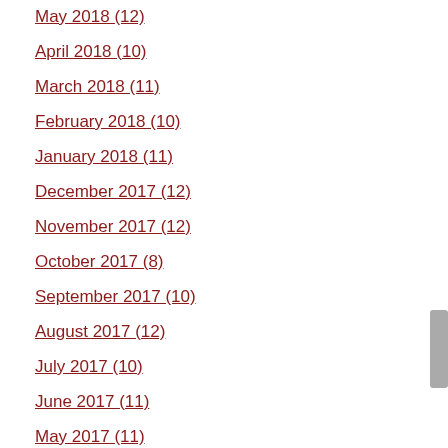May 2018 (12)
April 2018 (10)
March 2018 (11)
February 2018 (10)
January 2018 (11)
December 2017 (12)
November 2017 (12)
October 2017 (8)
September 2017 (10)
August 2017 (12)
July 2017 (10)
June 2017 (11)
May 2017 (11)
April 2017 (10)